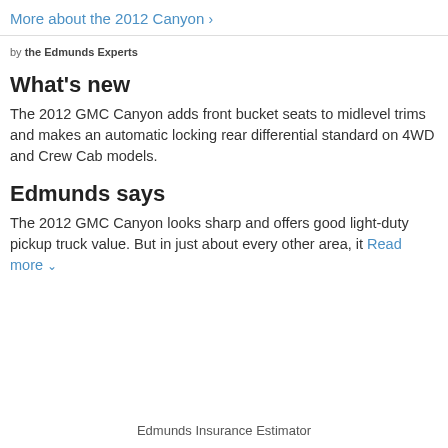More about the 2012 Canyon >
by the Edmunds Experts
What's new
The 2012 GMC Canyon adds front bucket seats to midlevel trims and makes an automatic locking rear differential standard on 4WD and Crew Cab models.
Edmunds says
The 2012 GMC Canyon looks sharp and offers good light-duty pickup truck value. But in just about every other area, it
Read more ∨
Edmunds Insurance Estimator